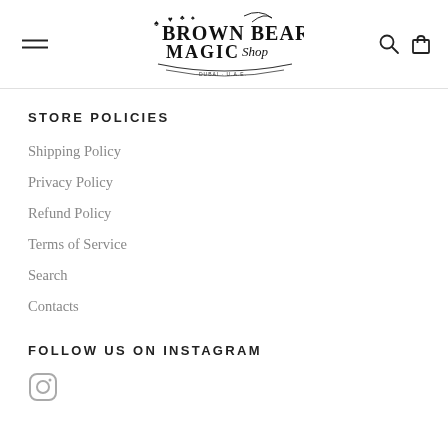[Figure (logo): Brown Bear Magic Shop logo with card suit symbols and decorative script]
STORE POLICIES
Shipping Policy
Privacy Policy
Refund Policy
Terms of Service
Search
Contacts
FOLLOW US ON INSTAGRAM